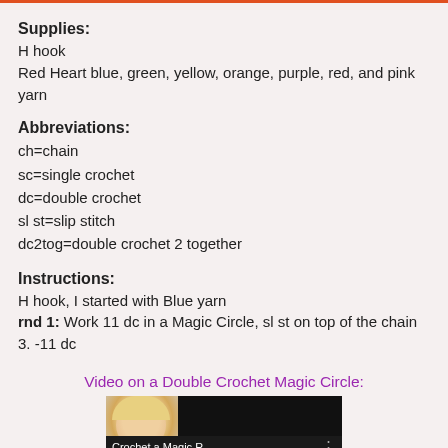Supplies:
H hook
Red Heart blue, green, yellow, orange, purple, red, and pink yarn
Abbreviations:
ch=chain
sc=single crochet
dc=double crochet
sl st=slip stitch
dc2tog=double crochet 2 together
Instructions:
H hook, I started with Blue yarn
rnd 1: Work 11 dc in a Magic Circle, sl st on top of the chain 3. -11 dc
Video on a Double Crochet Magic Circle:
[Figure (screenshot): Video thumbnail showing a woman with blonde hair and text 'Crochet a Magic R...' on a dark background with a menu icon]